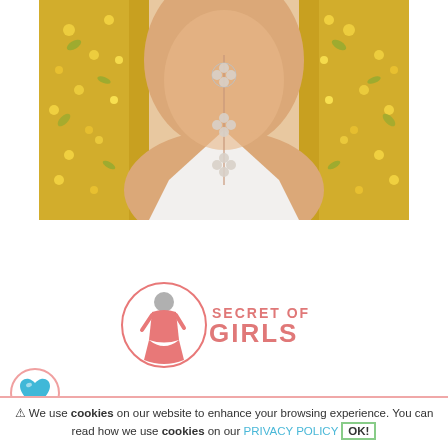[Figure (photo): Close-up photo of a woman wearing a white dress with a clover/floral pendant necklace and gold embroidered jacket. A 'Secret of Girls' watermark appears vertically on the right side of the image.]
[Figure (logo): Secret of Girls logo — stylized woman figure in a pink circle with text 'SECRET OF GIRLS' in pink/coral color]
[Figure (other): Blue/teal heart icon in a pink circle]
⚠ We use cookies on our website to enhance your browsing experience. You can read how we use cookies on our PRIVACY POLICY OK!